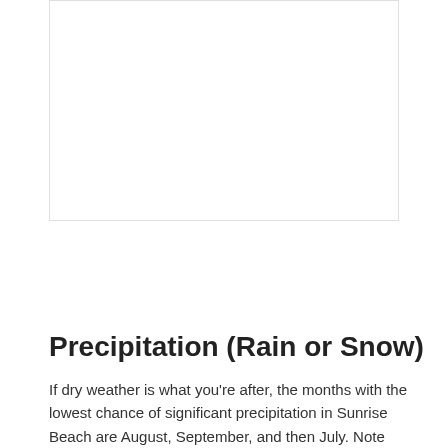[Figure (other): Empty white image placeholder with light border]
Precipitation (Rain or Snow)
If dry weather is what you're after, the months with the lowest chance of significant precipitation in Sunrise Beach are August, September, and then July. Note that...